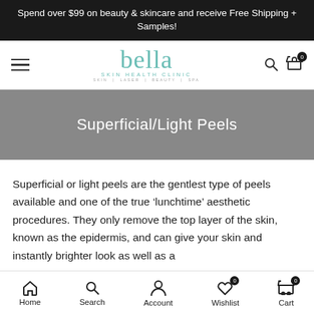Spend over $99 on beauty & skincare and receive Free Shipping + Samples!
[Figure (logo): Bella Skin Health Clinic logo with teal cursive text, subtitle SKIN HEALTH CLINIC and tagline SKIN | LASER | BEAUTY | SPA]
Superficial/Light Peels
Superficial or light peels are the gentlest type of peels available and one of the true ‘lunchtime’ aesthetic procedures. They only remove the top layer of the skin, known as the epidermis, and can give your skin and instantly brighter look as well as a
Home  Search  Account  Wishlist 0  Cart 0